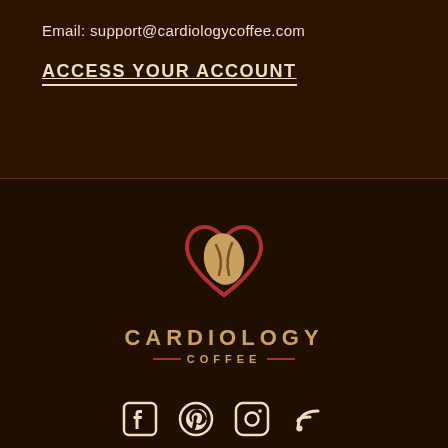Email: support@cardiologycoffee.com
ACCESS YOUR ACCOUNT
[Figure (logo): Cardiology Coffee logo: a coffee bean inside a red heart shape, with text CARDIOLOGY COFFEE below]
[Figure (other): Social media icons: Facebook, Pinterest, Instagram, RSS feed]
© 2022, Cardiology Coffee Powered by Shopify